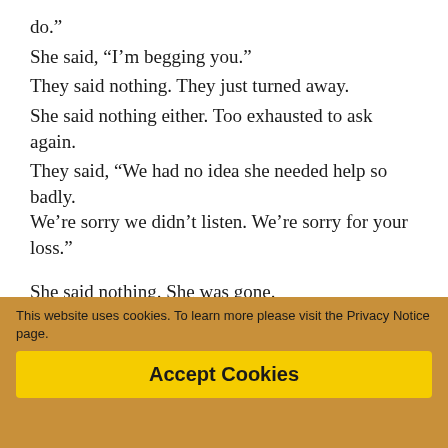do."
She said, “I’m begging you.”
They said nothing. They just turned away.
She said nothing either. Too exhausted to ask again.
They said, “We had no idea she needed help so badly. We’re sorry we didn’t listen. We’re sorry for your loss.”
She said nothing. She was gone.
8 Replies to “She Said They Said”
liz
JUNE 10, 2012 AT 8:55 PM   EDIT
One day it will be easier to cope with.
I feel for you.
Liz
This website uses cookies. To learn more please visit the Privacy Notice page.
Accept Cookies